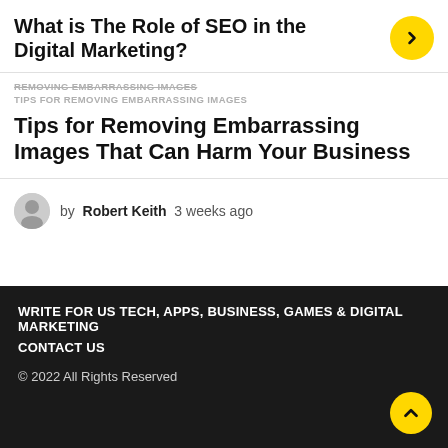What is The Role of SEO in the Digital Marketing?
REMOVING EMBARRASSING IMAGES
TIPS FOR REMOVING EMBARRASSING IMAGES
Tips for Removing Embarrassing Images That Can Harm Your Business
by Robert Keith 3 weeks ago
WRITE FOR US TECH, APPS, BUSINESS, GAMES & DIGITAL MARKETING
CONTACT US
© 2022 All Rights Reserved